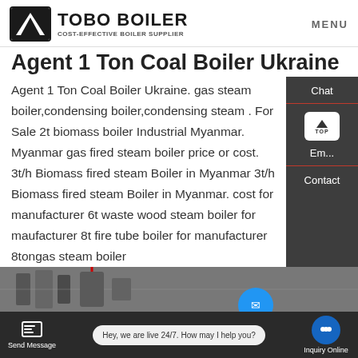TOBO BOILER — COST-EFFECTIVE BOILER SUPPLIER | MENU
Agent 1 Ton Coal Boiler Ukraine
Agent 1 Ton Coal Boiler Ukraine. gas steam boiler,condensing boiler,condensing steam . For Sale 2t biomass boiler Industrial Myanmar. Myanmar gas fired steam boiler price or cost. 3t/h Biomass fired steam Boiler in Myanmar 3t/h Biomass fired steam Boiler in Myanmar. cost for manufacturer 6t waste wood steam boiler for maufacturer 8t fire tube boiler for manufacturer 8tongas steam boiler
[Figure (screenshot): Industrial boiler equipment image at bottom of page]
Send Message | Hey, we are live 24/7. How may I help you? | Inquiry Online